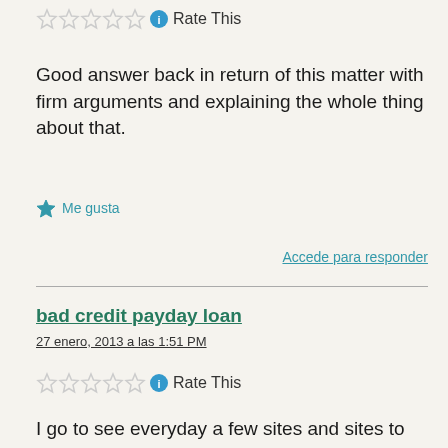Rate This
Good answer back in return of this matter with firm arguments and explaining the whole thing about that.
Me gusta
Accede para responder
bad credit payday loan
27 enero, 2013 a las 1:51 PM
Rate This
I go to see everyday a few sites and sites to read